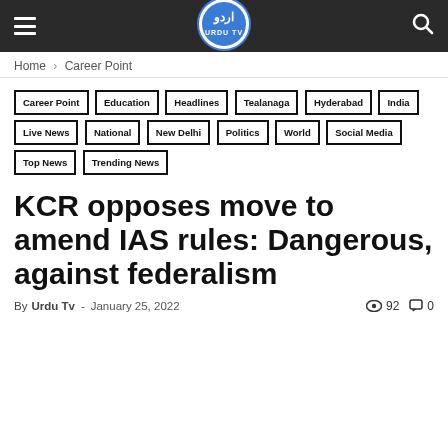Urdu TV — navigation header with hamburger menu and search icon
Home › Career Point
Career Point
Education
Headlines
Tealanaga
Hyderabad
India
Live News
National
New Delhi
Politics
World
Social Media
Top News
Trending News
KCR opposes move to amend IAS rules: Dangerous, against federalism
By Urdu Tv - January 25, 2022  92  0